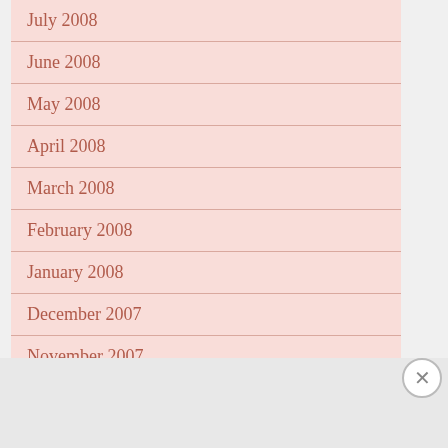July 2008
June 2008
May 2008
April 2008
March 2008
February 2008
January 2008
December 2007
November 2007
October 2007
September 2007
Advertisements
[Figure (other): DuckDuckGo advertisement banner: Search, browse, and email with more privacy. All in One Free App]